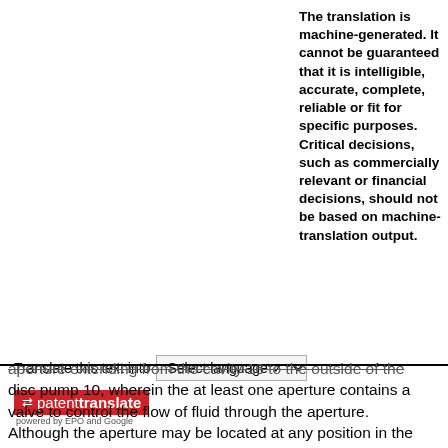The translation is machine-generated. It cannot be guaranteed that it is intelligible, accurate, complete, reliable or fit for specific purposes. Critical decisions, such as commercially relevant or financial decisions, should not be based on machine-translation output.
Translate this text into
[Figure (screenshot): Patent Translate logo with red background, arrows icon, and 'powered by EPO and Google' text]
aperture extending from the cavity 16 to the outside of the disc pump 10, wherein the at least one aperture contains a valve to control the flow of fluid through the aperture. Although the aperture may be located at any position in the cavity 16 where the actuator 40 generates a pressure differential as described below in more detail, one